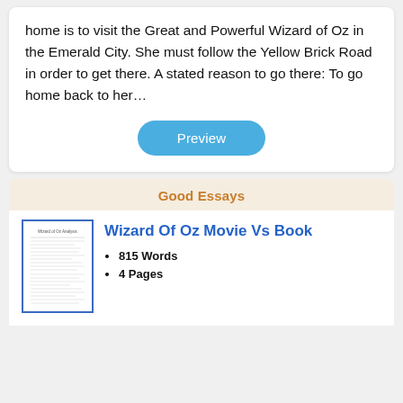home is to visit the Great and Powerful Wizard of Oz in the Emerald City. She must follow the Yellow Brick Road in order to get there. A stated reason to go there: To go home back to her…
Preview
Good Essays
Wizard Of Oz Movie Vs Book
815 Words
4 Pages